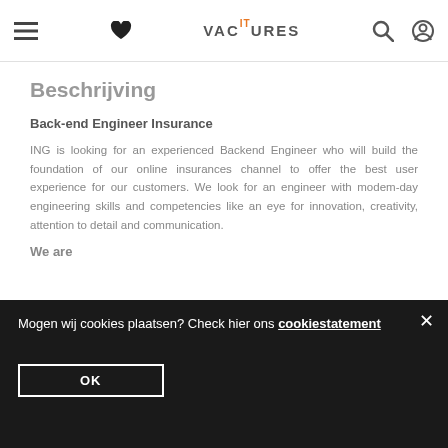IT Vacatures (navigation bar with menu, heart, logo, search, account icons)
Beschrijving
Back-end Engineer Insurance
ING is looking for an experienced Backend Engineer who will build the foundation of our online insurances channel to offer the best user experience for our customers. We look for an engineer with modem-day engineering skills and competencies like an eye for innovation, creativity, attention to detail and communication.
We are
...responsible for the Insurance platform for ING... ...scape we mainly use the following... ...frameworks: Java, Spring-Boot, S...
Mogen wij cookies plaatsen? Check hier ons cookiestatement
OK